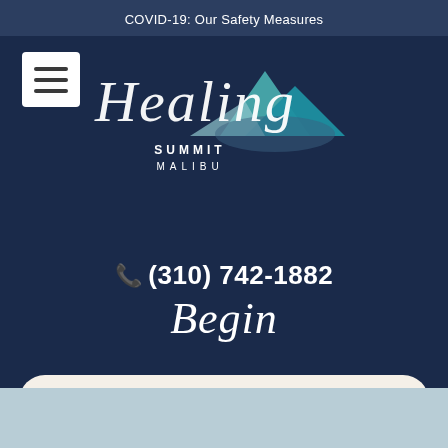COVID-19: Our Safety Measures
[Figure (logo): Healing Summit Malibu logo with script text and mountain graphic in teal and navy]
📞 (310) 742-1882
Begin
Call Now: 📞 1-310-742-1882